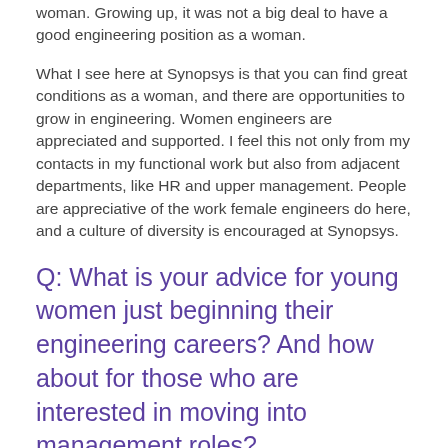woman. Growing up, it was not a big deal to have a good engineering position as a woman.
What I see here at Synopsys is that you can find great conditions as a woman, and there are opportunities to grow in engineering. Women engineers are appreciated and supported. I feel this not only from my contacts in my functional work but also from adjacent departments, like HR and upper management. People are appreciative of the work female engineers do here, and a culture of diversity is encouraged at Synopsys.
Q: What is your advice for young women just beginning their engineering careers? And how about for those who are interested in moving into management roles?
A: What I have learned is that women need to take risks like men do. So, take risks and follow your talent. Do not be afraid.